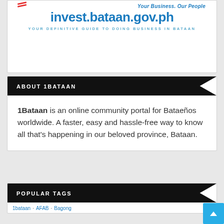[Figure (other): Advertisement banner for invest.bataan.gov.ph with tagline 'Your Business. Our People' and subtitle 'YOUR DEFINITIVE GUIDE TO DOING BUSINESS IN BATAAN']
ABOUT 1BATAAN
1Bataan is an online community portal for Bataeños worldwide. A faster, easy and hassle-free way to know all that's happening in our beloved province, Bataan.
POPULAR TAGS